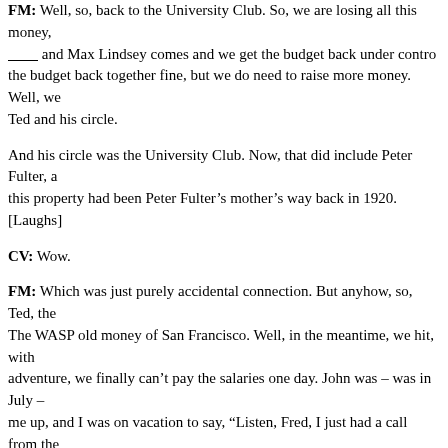FM: Well, so, back to the University Club. So, we are losing all this money, ________ and Max Lindsey comes and we get the budget back under control, the budget back together fine, but we do need to raise more money. Well, we Ted and his circle.
And his circle was the University Club. Now, that did include Peter Fulter, a this property had been Peter Fulter's mother's way back in 1920. [Laughs]
CV: Wow.
FM: Which was just purely accidental connection. But anyhow, so, Ted, they The WASP old money of San Francisco. Well, in the meantime, we hit, with adventure, we finally can't pay the salaries one day. John was – was in July – me up, and I was on vacation to say, "Listen, Fred, I just had a call from the the IRS for I guess it was six months, and they want their money."
There wasn't any money I the bank. Yates had been, and he had gone away t Yates had. Had been having all the checks written and in those days, either T or I could sign a check. I always just signed them. Then Jay, John never sent was no money to cover them. [Laughs]
CV: Oh, wow. God.